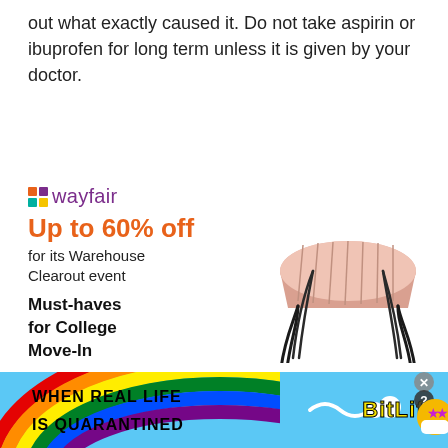out what exactly caused it. Do not take aspirin or ibuprofen for long term unless it is given by your doctor.
[Figure (screenshot): Wayfair advertisement: logo with purple star icon and purple 'wayfair' text, orange bold text 'Up to 60% off', subtitle 'for its Warehouse Clearout event', bold black text 'Must-haves for College Move-In', purple 'Shop now' button, image of a pink tufted ottoman stool with black hairpin legs.]
[Figure (screenshot): BitLife mobile game advertisement with rainbow and blue background, bold black text 'WHEN REAL LIFE IS QUARANTINED', yellow text 'BITLIFE', cartoon character with mask, and white X/? close buttons.]